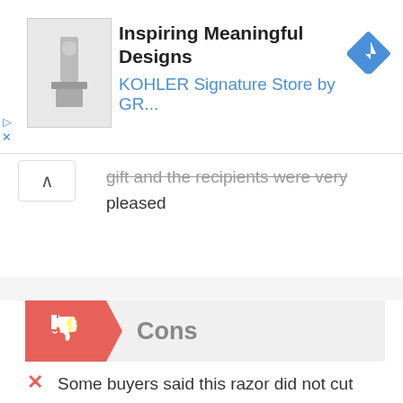[Figure (screenshot): Advertisement banner for KOHLER Signature Store with bathroom fixture image, text 'Inspiring Meaningful Designs' and 'KOHLER Signature Store by GR...' with navigation icon]
gift and the recipients were very pleased
Cons
Some buyers said this razor did not cut close enough
A few buyers said it looked more like a silver plated brass